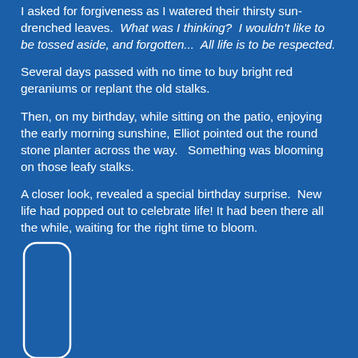I asked for forgiveness as I watered their thirsty sun-drenched leaves.  What was I thinking?  I wouldn't like to be tossed aside, and forgotten...  All life is to be respected.
Several days passed with no time to buy bright red geraniums or replant the old stalks.
Then, on my birthday, while sitting on the patio, enjoying the early morning sunshine, Elliot pointed out the round stone planter across the way.   Something was blooming on those leafy stalks.
A closer look, revealed a special birthday surprise.  New life had popped out to celebrate life! It had been there all the while, waiting for the right time to bloom.
[Figure (photo): Partial view of a rounded rectangular frame or image border, white outline, cropped at bottom of page]